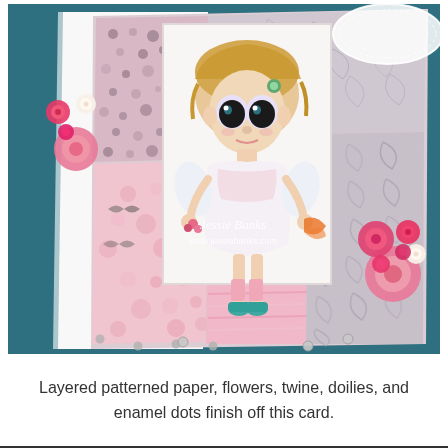[Figure (photo): A handmade greeting card leaning against a teal background. The card features layered patchwork panels of pink polka dot, pink floral, and gray sketched patterned papers. In the center is a panel with an illustrated big-eyed fairy girl character wearing a white dress and teal shoes. Pink and cream paper flower embellishments decorate the left and right sides of the card. A lace doily is visible in the upper right corner. A watermark reads 'Jessie Banks www.jessiebanks.com'. The card sits on a white surface.]
Layered patterned paper, flowers, twine, doilies, and enamel dots finish off this card.